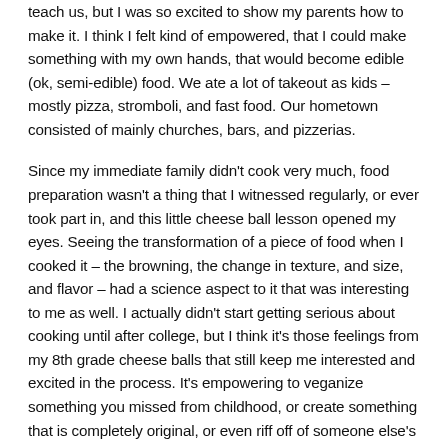teach us, but I was so excited to show my parents how to make it. I think I felt kind of empowered, that I could make something with my own hands, that would become edible (ok, semi-edible) food. We ate a lot of takeout as kids – mostly pizza, stromboli, and fast food. Our hometown consisted of mainly churches, bars, and pizzerias.
Since my immediate family didn't cook very much, food preparation wasn't a thing that I witnessed regularly, or ever took part in, and this little cheese ball lesson opened my eyes. Seeing the transformation of a piece of food when I cooked it – the browning, the change in texture, and size, and flavor – had a science aspect to it that was interesting to me as well. I actually didn't start getting serious about cooking until after college, but I think it's those feelings from my 8th grade cheese balls that still keep me interested and excited in the process. It's empowering to veganize something you missed from childhood, or create something that is completely original, or even riff off of someone else's idea to make it your own. It's also pretty darn cool to